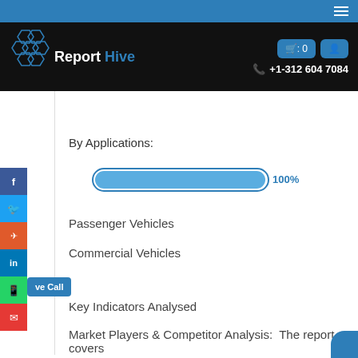Report Hive — +1-312 604 7084
By Applications:
[Figure (bar-chart): By Applications]
Passenger Vehicles
Commercial Vehicles
Key Indicators Analysed
Market Players & Competitor Analysis:  The report covers